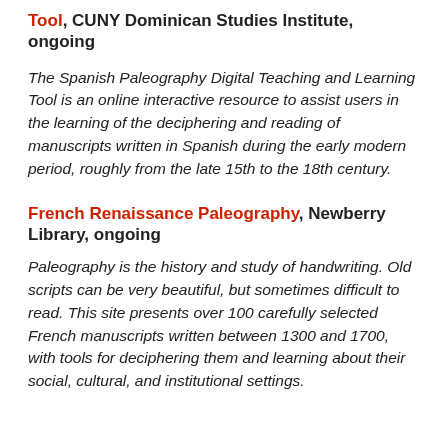Tool, CUNY Dominican Studies Institute, ongoing
The Spanish Paleography Digital Teaching and Learning Tool is an online interactive resource to assist users in the learning of the deciphering and reading of manuscripts written in Spanish during the early modern period, roughly from the late 15th to the 18th century.
French Renaissance Paleography, Newberry Library, ongoing
Paleography is the history and study of handwriting. Old scripts can be very beautiful, but sometimes difficult to read. This site presents over 100 carefully selected French manuscripts written between 1300 and 1700, with tools for deciphering them and learning about their social, cultural, and institutional settings.